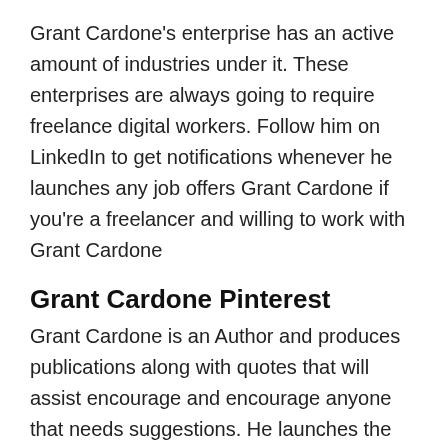Grant Cardone's enterprise has an active amount of industries under it. These enterprises are always going to require freelance digital workers. Follow him on LinkedIn to get notifications whenever he launches any job offers Grant Cardone if you're a freelancer and willing to work with Grant Cardone
Grant Cardone Pinterest
Grant Cardone is an Author and produces publications along with quotes that will assist encourage and encourage anyone that needs suggestions. He launches the quotes in the form of photos on Pinterest. If you're interested in following Grant Cardone on Pinterest click on the link Grant Cardone